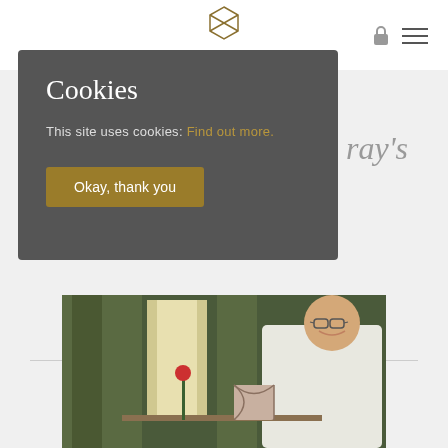[Figure (logo): Geometric diamond/hexagon logo outline in gold/dark color]
[Figure (screenshot): Cookie consent modal overlay on a restaurant website. Dark gray box with title 'Cookies', text 'This site uses cookies: Find out more.' (link in gold), and a gold 'Okay, thank you' button. Background shows partial text 'ray's' and a chef photo.]
Cookies
This site uses cookies: Find out more.
Okay, thank you
[Figure (photo): Chef in white chef's coat leaning on a dining table in an elegant restaurant setting with green drapes and decorative interior.]